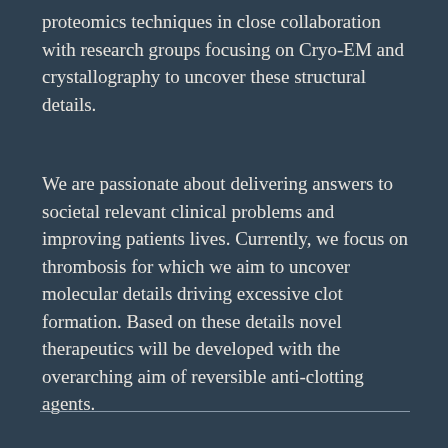proteomics techniques in close collaboration with research groups focusing on Cryo-EM and crystallography to uncover these structural details.
We are passionate about delivering answers to societal relevant clinical problems and improving patients lives. Currently, we focus on thrombosis for which we aim to uncover molecular details driving excessive clot formation. Based on these details novel therapeutics will be developed with the overarching aim of reversible anti-clotting agents.